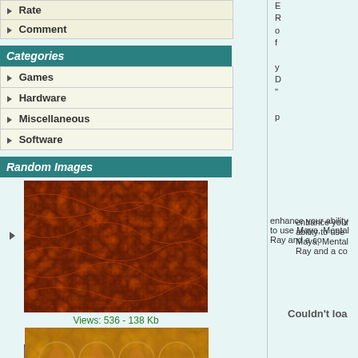Rate
Comment
Categories
Games
Hardware
Miscellaneous
Software
Random Images
[Figure (photo): Red/orange textured pattern image]
Views: 536 - 138 Kb
Jul-30-2007
[Figure (photo): Blue/grey textured pattern image]
Views: 476 - 122 Kb
Jul-30-2007
[Figure (photo): Orange/gold decorative pattern image]
enhance your ability to use Maya, Mental Ray and a co
Couldn't loa